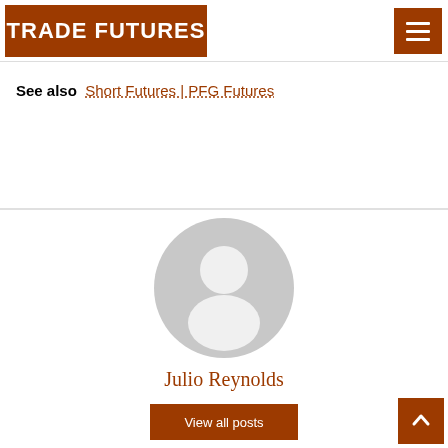TRADE FUTURES
See also  Short Futures | PFG Futures
[Figure (illustration): Generic user avatar: circular grey head and shoulder silhouette placeholder image]
Julio Reynolds
View all posts